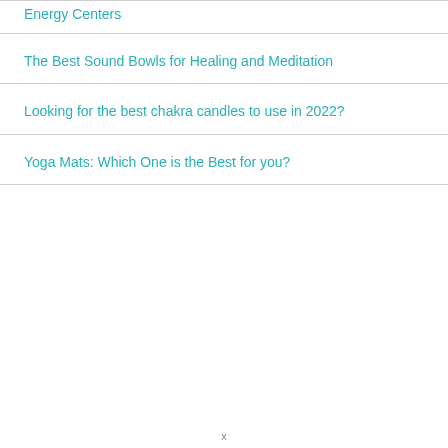Energy Centers
The Best Sound Bowls for Healing and Meditation
Looking for the best chakra candles to use in 2022?
Yoga Mats: Which One is the Best for you?
x